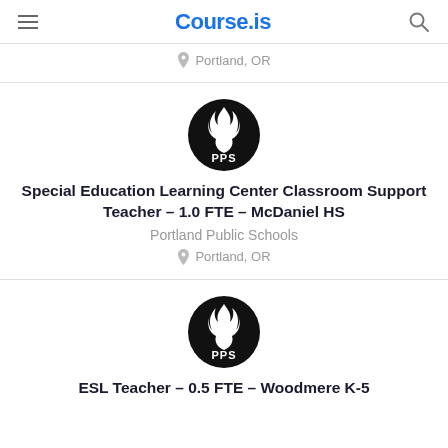Course.is
Portland, OR
[Figure (logo): Portland Public Schools PPS circular logo, black circle with white flame and PPS text]
Special Education Learning Center Classroom Support Teacher – 1.0 FTE – McDaniel HS
Portland Public Schools
Portland, OR
[Figure (logo): Portland Public Schools PPS circular logo, black circle with white flame and PPS text]
ESL Teacher – 0.5 FTE – Woodmere K-5